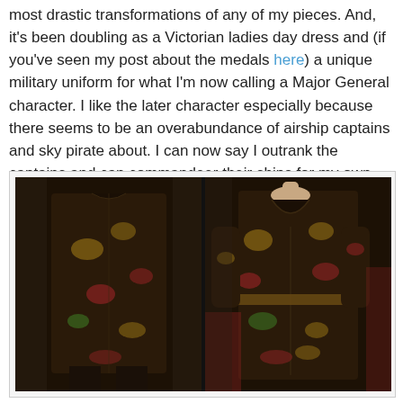most drastic transformations of any of my pieces. And, it's been doubling as a Victorian ladies day dress and (if you've seen my post about the medals here) a unique military uniform for what I'm now calling a Major General character. I like the later character especially because there seems to be an overabundance of airship captains and sky pirate about. I can now say I outrank the captains and can commandeer their ships for my own purposes. Muwahaha! :D
[Figure (photo): Two side-by-side photos of a floral tapestry coat/dress displayed on a dressmaker's dummy, shown from the back and front views. The garment has a dark background with crimson, gold and green floral pattern.]